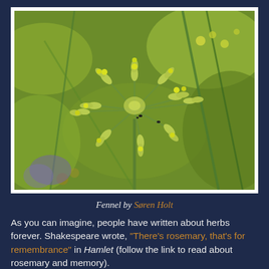[Figure (photo): Close-up photograph of fennel plant with green flower buds and yellow flowers on stalks, set against a blurred green garden background.]
Fennel by Søren Holt
As you can imagine, people have written about herbs forever. Shakespeare wrote, "There's rosemary, that's for remembrance" in Hamlet (follow the link to read about rosemary and memory).